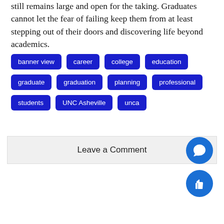still remains large and open for the taking. Graduates cannot let the fear of failing keep them from at least stepping out of their doors and discovering life beyond academics.
banner view
career
college
education
graduate
graduation
planning
professional
students
UNC Asheville
unca
Leave a Comment